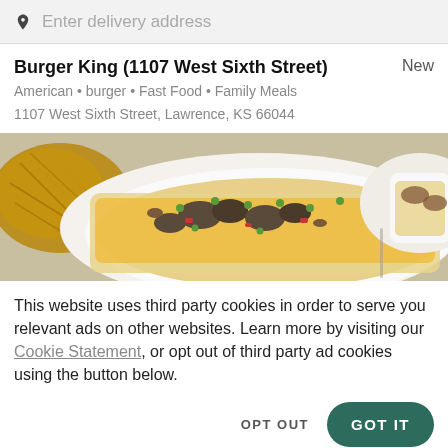Enter delivery address
Burger King (1107 West Sixth Street)
American • burger • Fast Food • Family Meals
1107 West Sixth Street, Lawrence, KS 66044
[Figure (photo): Food photo showing flatbread or pizza topped with mushrooms, peppers, green peas, and other vegetables on a white plate, with another dish partially visible on the right]
This website uses third party cookies in order to serve you relevant ads on other websites. Learn more by visiting our Cookie Statement, or opt out of third party ad cookies using the button below.